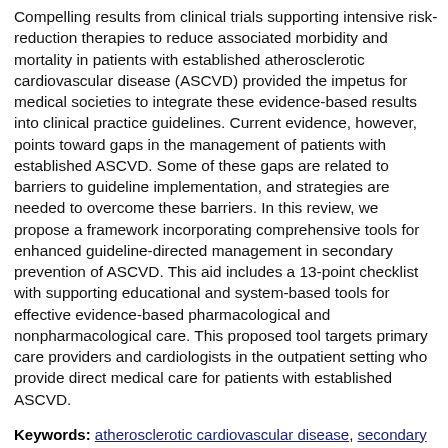Compelling results from clinical trials supporting intensive risk-reduction therapies to reduce associated morbidity and mortality in patients with established atherosclerotic cardiovascular disease (ASCVD) provided the impetus for medical societies to integrate these evidence-based results into clinical practice guidelines. Current evidence, however, points toward gaps in the management of patients with established ASCVD. Some of these gaps are related to barriers to guideline implementation, and strategies are needed to overcome these barriers. In this review, we propose a framework incorporating comprehensive tools for enhanced guideline-directed management in secondary prevention of ASCVD. This aid includes a 13-point checklist with supporting educational and system-based tools for effective evidence-based pharmacological and nonpharmacological care. This proposed tool targets primary care providers and cardiologists in the outpatient setting who provide direct medical care for patients with established ASCVD.
Keywords: atherosclerotic cardiovascular disease, secondary prevention, checklist, guidelines, evidence-based medicine
DOI: http://doi.org/10.12037/lmdcvj.905  Accepted on 07 Sep 2021  Submitted on 23 Aug 2021
Introduction